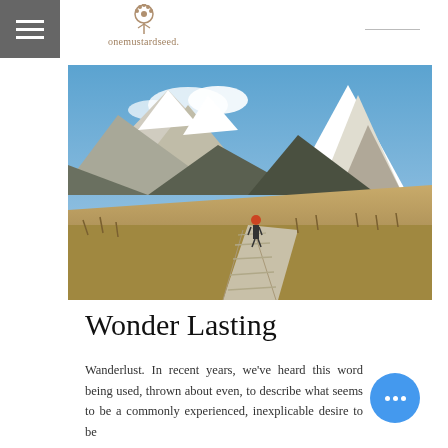onemustardseed.
[Figure (photo): A hiker walking along a wooden boardwalk through golden meadow grass, with dramatic snow-capped mountain peaks rising in the background under a blue sky.]
Wonder Lasting
Wanderlust. In recent years, we've heard this word being used, thrown about even, to describe what seems to be a commonly experienced, inexplicable desire to be...